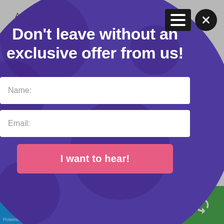Amusement ... ay be element...
wo...
[Figure (screenshot): Modal popup overlay with circular purple background featuring a lead capture form. Title reads 'Don't leave without an exclusive offer from us!' with Name and Email input fields and a pink 'I want to hear!' button. A close (X) button and hamburger menu are visible in the top-right corner.]
[Figure (infographic): Bottom social sharing bar with Twitter bird icon and 'Powered by po...' text on blue, a share count of 1 on grey, a small blue section, and a green section with revolve/share icon.]